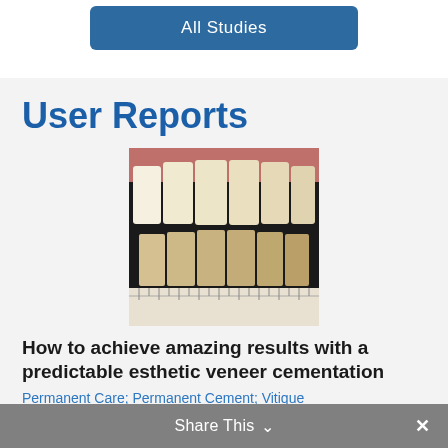All Studies
User Reports
[Figure (photo): Close-up photo of dental veneer shade guide showing multiple tooth-shaped porcelain samples in varying shades from white to yellow, arranged in two rows with a ruler visible at the bottom.]
How to achieve amazing results with a predictable esthetic veneer cementation
Permanent Care; Permanent Cement; Vitique
[Figure (photo): Partially visible photo at bottom of page, appears to show a dental or clinical procedure.]
Share This ∨  ×